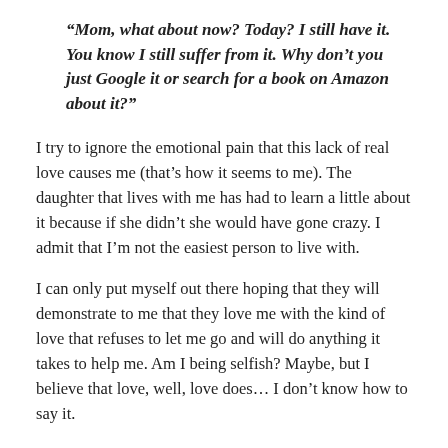“Mom, what about now? Today? I still have it. You know I still suffer from it. Why don’t you just Google it or search for a book on Amazon about it?”
I try to ignore the emotional pain that this lack of real love causes me (that’s how it seems to me). The daughter that lives with me has had to learn a little about it because if she didn’t she would have gone crazy. I admit that I’m not the easiest person to live with.
I can only put myself out there hoping that they will demonstrate to me that they love me with the kind of love that refuses to let me go and will do anything it takes to help me. Am I being selfish? Maybe, but I believe that love, well, love does… I don’t know how to say it.